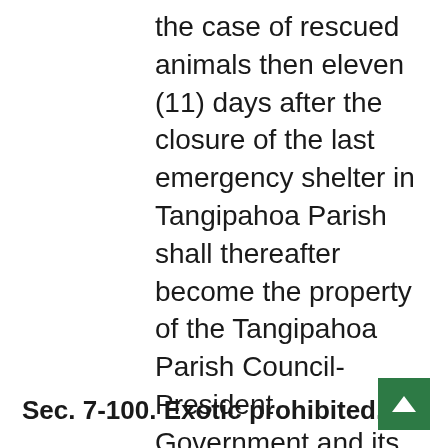the case of rescued animals then eleven (11) days after the closure of the last emergency shelter in Tangipahoa Parish shall thereafter become the property of the Tangipahoa Parish Council-President Government and its Tangipahoa Parish Animal Control Department and without further notice.
Sec. 7-100. Exotic prohibited.